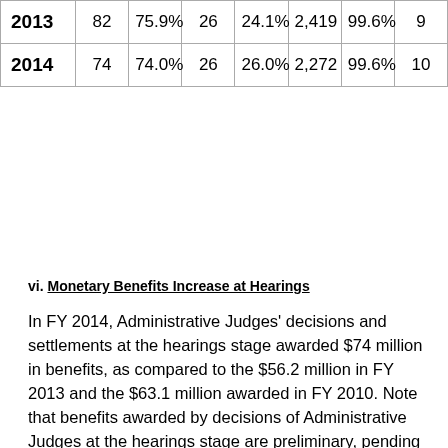| 2013 | 82 | 75.9% | 26 | 24.1% | 2,419 | 99.6% | 9 |
| 2014 | 74 | 74.0% | 26 | 26.0% | 2,272 | 99.6% | 10 |
vi. Monetary Benefits Increase at Hearings
In FY 2014, Administrative Judges' decisions and settlements at the hearings stage awarded $74 million in benefits, as compared to the $56.2 million in FY 2013 and the $63.1 million awarded in FY 2010. Note that benefits awarded by decisions of Administrative Judges at the hearings stage are preliminary, pending a decision on implementation by the agency or on appeal.